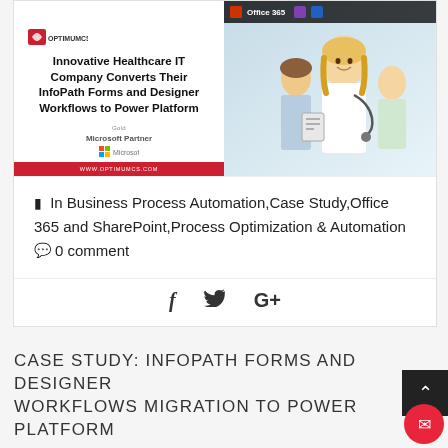[Figure (screenshot): Cover image for case study showing 'Innovative Healthcare IT Company Converts Their InfoPath Forms and Designer Workflows to Power Platform' with Microsoft Partner logo, red branding, and healthcare professionals photo with Office 365 bar]
📁 In Business Process Automation,Case Study,Office 365 and SharePoint,Process Optimization & Automation 💬 0 comment
[Figure (other): Social sharing icons: Facebook (f), Twitter (bird), Google+ (G+)]
CASE STUDY: INFOPATH FORMS AND DESIGNER WORKFLOWS MIGRATION TO POWER PLATFORM